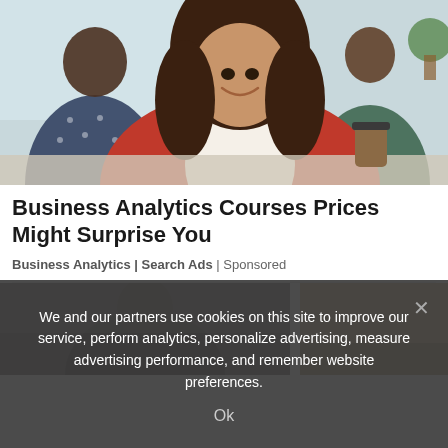[Figure (photo): A smiling woman in a red jacket sitting at a table in an office/meeting setting with colleagues in the background, coffee cups visible]
Business Analytics Courses Prices Might Surprise You
Business Analytics | Search Ads | Sponsored
[Figure (photo): Two side-by-side photos partially visible at the bottom of the page showing people in office/business settings]
We and our partners use cookies on this site to improve our service, perform analytics, personalize advertising, measure advertising performance, and remember website preferences.
Ok